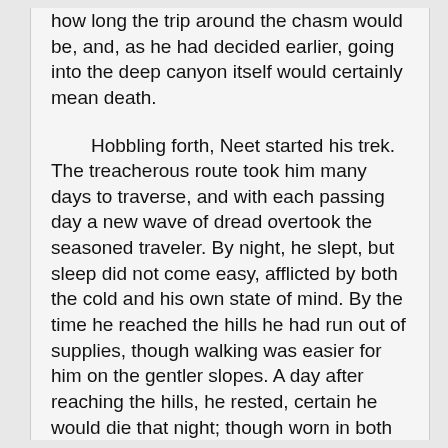how long the trip around the chasm would be, and, as he had decided earlier, going into the deep canyon itself would certainly mean death.

Hobbling forth, Neet started his trek. The treacherous route took him many days to traverse, and with each passing day a new wave of dread overtook the seasoned traveler. By night, he slept, but sleep did not come easy, afflicted by both the cold and his own state of mind. By the time he reached the hills he had run out of supplies, though walking was easier for him on the gentler slopes. A day after reaching the hills, he rested, certain he would die that night; though worn in both the body and the mind, Neet's resilience